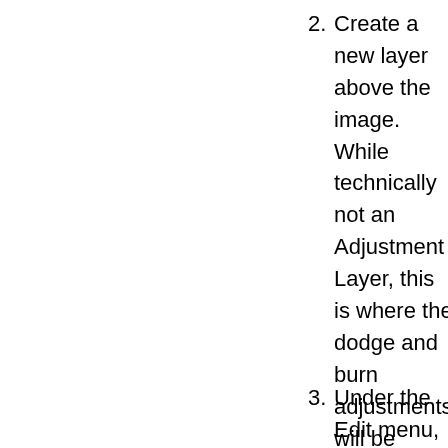2. Create a new layer above the image. While technically not an Adjustment Layer, this is where the dodge and burn adjustments will be performed, instead of on the original image.
3. Under the Edit menu, select Fill.